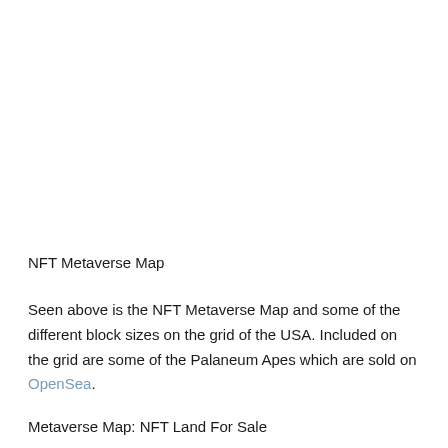NFT Metaverse Map
Seen above is the NFT Metaverse Map and some of the different block sizes on the grid of the USA. Included on the grid are some of the Palaneum Apes which are sold on OpenSea.
Metaverse Map: NFT Land For Sale